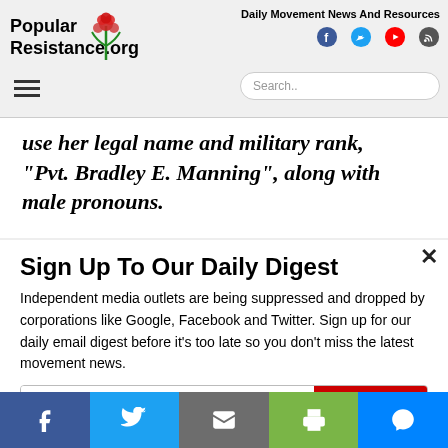Popular Resistance.org — Daily Movement News And Resources
use her legal name and military rank, “Pvt. Bradley E. Manning”, along with male pronouns.
Sign Up To Our Daily Digest
Independent media outlets are being suppressed and dropped by corporations like Google, Facebook and Twitter. Sign up for our daily email digest before it’s too late so you don’t miss the latest movement news.
Social share bar: Facebook, Twitter, Email, Print, Messenger